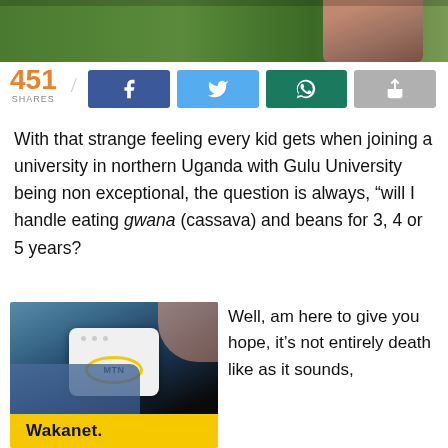[Figure (photo): Top cropped photo showing a person in a striped shirt outdoors with green foliage background]
451 SHARES
[Figure (infographic): Social share buttons: Facebook, Twitter, WhatsApp, and a generic share button]
With that strange feeling every kid gets when joining a university in northern Uganda with Gulu University being non exceptional, the question is always, “will I handle eating gwana (cassava) and beans for 3, 4 or 5 years?
[Figure (photo): Advertisement photo of an MTN Wakanet mobile WiFi device being placed in a jeans pocket. Bottom yellow banner reads Wakanet.]
Well, am here to give you hope, it’s not entirely death like as it sounds,